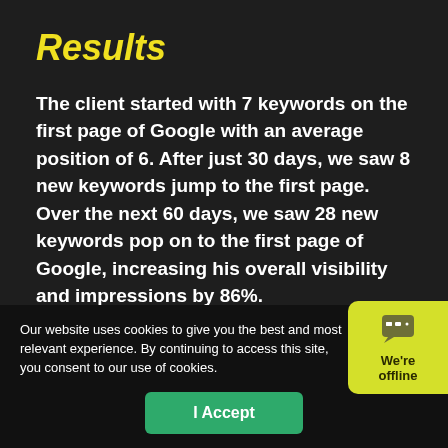Results
The client started with 7 keywords on the first page of Google with an average position of 6. After just 30 days, we saw 8 new keywords jump to the first page. Over the next 60 days, we saw 28 new keywords pop on to the first page of Google, increasing his overall visibility and impressions by 86%.
Our website uses cookies to give you the best and most relevant experience. By continuing to access this site, you consent to our use of cookies.
I Accept